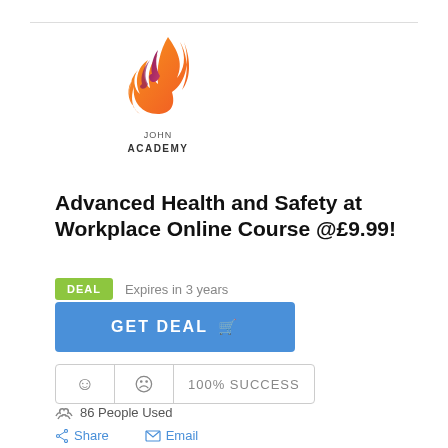[Figure (logo): John Academy flame logo with orange and purple gradient, text JOHN ACADEMY below]
Advanced Health and Safety at Workplace Online Course @£9.99!
DEAL  Expires in 3 years
GET DEAL
100% SUCCESS
86 People Used
Share  Email